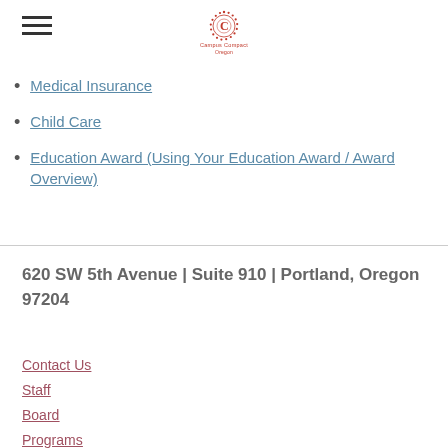Campus Compact Oregon (logo)
Medical Insurance
Child Care
Education Award (Using Your Education Award / Award Overview)
620 SW 5th Avenue  | Suite 910  | Portland, Oregon 97204
Contact Us
Staff
Board
Programs